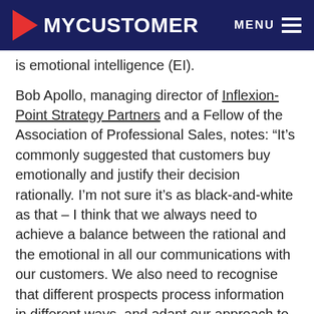MYCUSTOMER | MENU
is emotional intelligence (EI).
Bob Apollo, managing director of Inflexion-Point Strategy Partners and a Fellow of the Association of Professional Sales, notes: “It’s commonly suggested that customers buy emotionally and justify their decision rationally. I’m not sure it’s as black-and-white as that – I think that we always need to achieve a balance between the rational and the emotional in all our communications with our customers. We also need to recognise that different prospects process information in different ways, and adapt our approach to each of them accordingly. EI is critical to achieving this.”